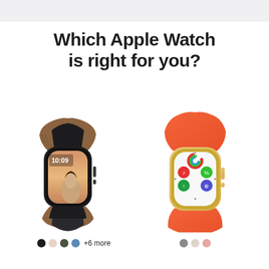Which Apple Watch is right for you?
[Figure (illustration): Apple Watch Series 7 in midnight color with brown leather link bracelet, showing a photo watch face with a woman and time 10:09]
[Figure (illustration): Apple Watch SE in gold color with orange/red solo loop band, showing activity rings watch face]
● ● ● ● +6 more   ● ● ●